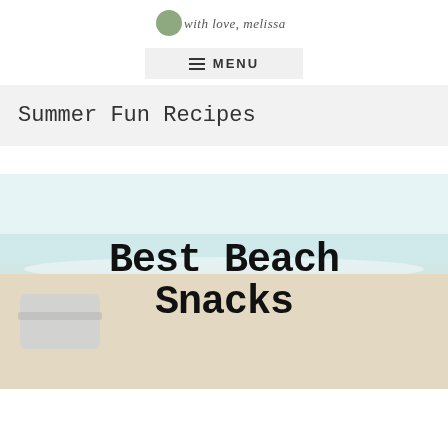with love, melissa
MENU
Summer Fun Recipes
[Figure (photo): Beach scene with ocean waves and a picnic basket setup on sandy shore, overlaid with large bold typewriter-font text reading 'Best Beach Snacks']